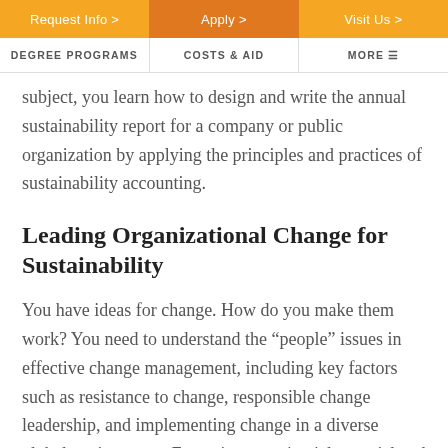Request Info >  Apply >  Visit Us >
DEGREE PROGRAMS  COSTS & AID  MORE
subject, you learn how to design and write the annual sustainability report for a company or public organization by applying the principles and practices of sustainability accounting.
Leading Organizational Change for Sustainability
You have ideas for change. How do you make them work? You need to understand the “people” issues in effective change management, including key factors such as resistance to change, responsible change leadership, and implementing change in a diverse global environment. Extensive experiential material and an outside field study are used to illustrate change intervention strategies with